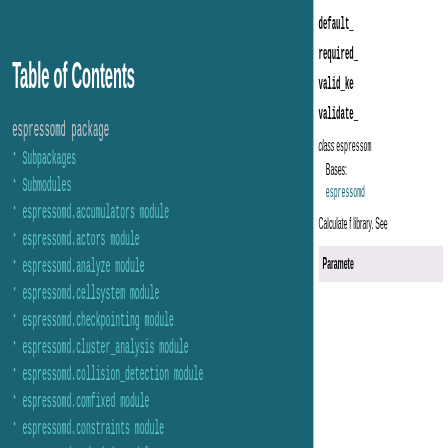Table of Contents
espressomd package
Subpackages
Submodules
espressomd.accumulators module
espressomd.actors module
espressomd.analyze module
espressomd.cellsystem module
espressomd.checkpointing module
espressomd.cluster_analysis module
espressomd.collision_detection module
espressomd.comfixed module
espressomd.constraints module
espressomd.cuda_init module
espressomd.diamond module
espressomd.drude_helpers module
espressomd.ekboundaries module
espressomd.electrokinetics module
espressomd.electrostatic_extensions module
espressomd.electrostatics module
espressomd.galilei module
espressomd.globals module
espressomd.highlander module
espressomd.integrate module
default_
required_
valid_ke
validate_
class espressomd...
Bases:
espressomd...
Calculate f library. See
Parameters